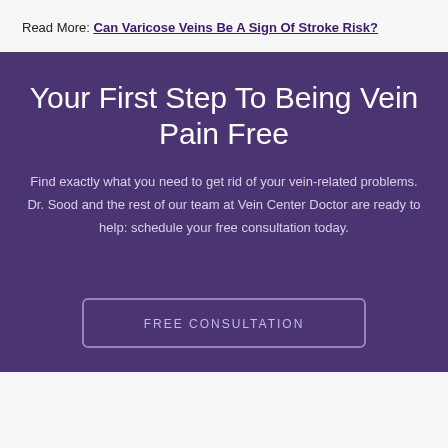Read More: Can Varicose Veins Be A Sign Of Stroke Risk?
Your First Step To Being Vein Pain Free
Find exactly what you need to get rid of your vein-related problems. Dr. Sood and the rest of our team at Vein Center Doctor are ready to help: schedule your free consultation today.
FREE CONSULTATION